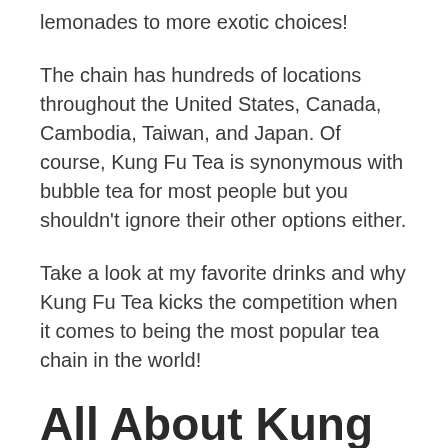lemonades to more exotic choices!
The chain has hundreds of locations throughout the United States, Canada, Cambodia, Taiwan, and Japan. Of course, Kung Fu Tea is synonymous with bubble tea for most people but you shouldn't ignore their other options either.
Take a look at my favorite drinks and why Kung Fu Tea kicks the competition when it comes to being the most popular tea chain in the world!
All About Kung Fu Tea
Kung Fu tea was founded in Queens, New York in 2010. As America's largest bubble